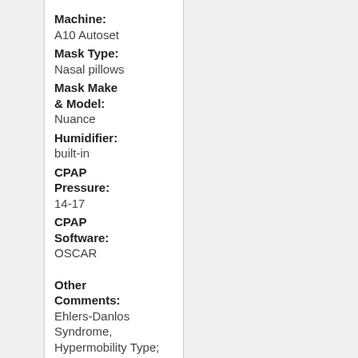Machine: A10 Autoset
Mask Type: Nasal pillows
Mask Make & Model: Nuance
Humidifier: built-in
CPAP Pressure: 14-17
CPAP Software: OSCAR
Other Comments: Ehlers-Danlos Syndrome, Hypermobility Type; chronic sarcasm
Sex: Undisclosed
Location: